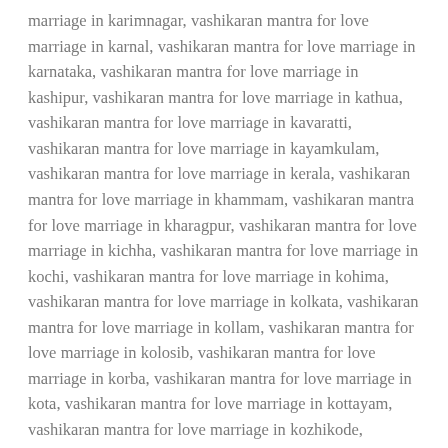marriage in karimnagar, vashikaran mantra for love marriage in karnal, vashikaran mantra for love marriage in karnataka, vashikaran mantra for love marriage in kashipur, vashikaran mantra for love marriage in kathua, vashikaran mantra for love marriage in kavaratti, vashikaran mantra for love marriage in kayamkulam, vashikaran mantra for love marriage in kerala, vashikaran mantra for love marriage in khammam, vashikaran mantra for love marriage in kharagpur, vashikaran mantra for love marriage in kichha, vashikaran mantra for love marriage in kochi, vashikaran mantra for love marriage in kohima, vashikaran mantra for love marriage in kolkata, vashikaran mantra for love marriage in kollam, vashikaran mantra for love marriage in kolosib, vashikaran mantra for love marriage in korba, vashikaran mantra for love marriage in kota, vashikaran mantra for love marriage in kottayam, vashikaran mantra for love marriage in kozhikode, vashikaran mantra for love marriage in kullu, vashikaran mantra for love marriage in kurnool, vashikaran mantra for love marriage in lakshadweep, vashikaran mantra for love marriage in lawngtlai, vashikaran mantra for love